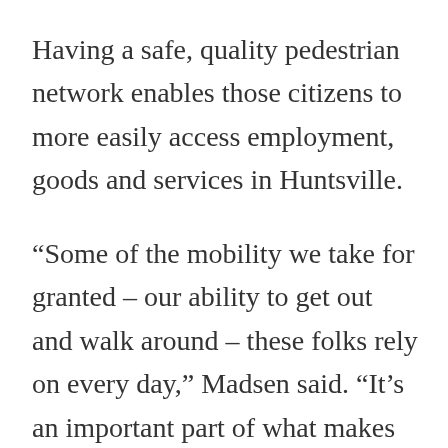Having a safe, quality pedestrian network enables those citizens to more easily access employment, goods and services in Huntsville.
“Some of the mobility we take for granted – our ability to get out and walk around – these folks rely on every day,” Madsen said. “It’s an important part of what makes their lives fruitful and